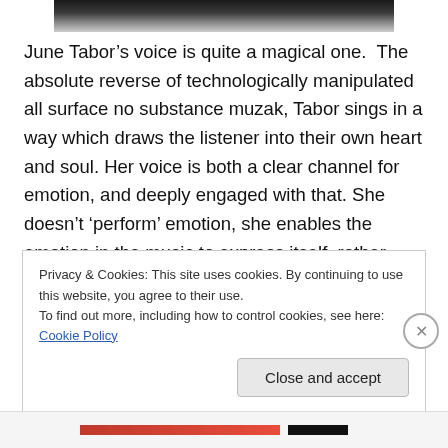[Figure (photo): Partial black and white photograph visible at top of page, cropped]
June Tabor’s voice is quite a magical one.  The absolute reverse of technologically manipulated all surface no substance muzak, Tabor sings in a way which draws the listener into their own heart and soul. Her voice is both a clear channel for emotion, and deeply engaged with that. She doesn’t ‘perform’ emotion, she enables the emotion in the music to express itself, rather than expressing her own emotion. Her style is therefore that of surrender to the music and words, so that the listener can engage directly
Privacy & Cookies: This site uses cookies. By continuing to use this website, you agree to their use.
To find out more, including how to control cookies, see here: Cookie Policy
Close and accept